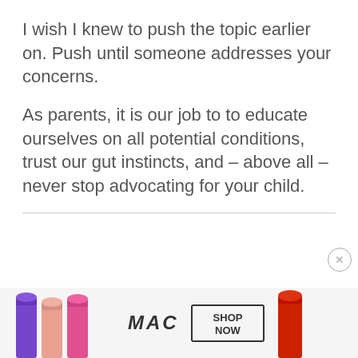I wish I knew to push the topic earlier on. Push until someone addresses your concerns.
As parents, it is our job to to educate ourselves on all potential conditions, trust our gut instincts, and – above all – never stop advocating for your child.
[Figure (other): Advertisement banner for MAC cosmetics showing lipsticks in purple, pink, and red colors alongside the MAC logo and a SHOP NOW button.]